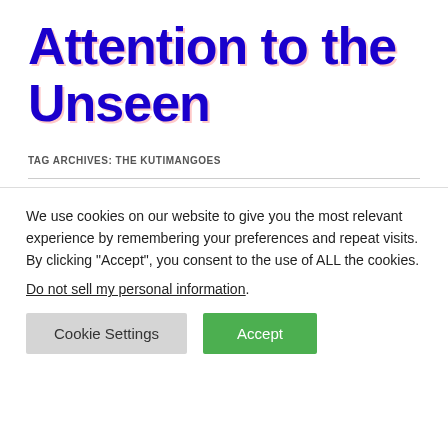Attention to the Unseen
TAG ARCHIVES: THE KUTIMANGOES
We use cookies on our website to give you the most relevant experience by remembering your preferences and repeat visits. By clicking “Accept”, you consent to the use of ALL the cookies.
Do not sell my personal information.